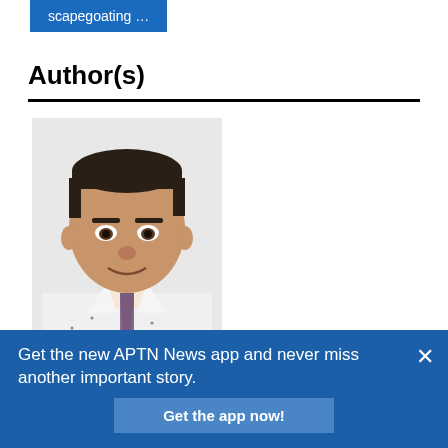scapegoating …
Author(s)
[Figure (photo): Headshot of a man named Jamie wearing a white dress shirt and striped tie, photographed from roughly chest-up against a white background.]
Jamie
Get the new APTN News app and never miss another important story.
Get the app now!